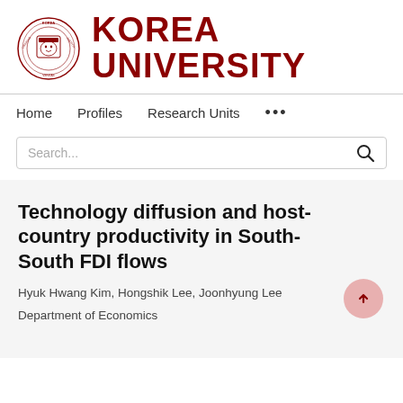[Figure (logo): Korea University logo: circular seal with text LIBERTAS JUSTITIA VERITAS and a tiger emblem, followed by bold dark red text KOREA UNIVERSITY]
Home   Profiles   Research Units   ...
Technology diffusion and host-country productivity in South-South FDI flows
Hyuk Hwang Kim, Hongshik Lee, Joonhyung Lee
Department of Economics